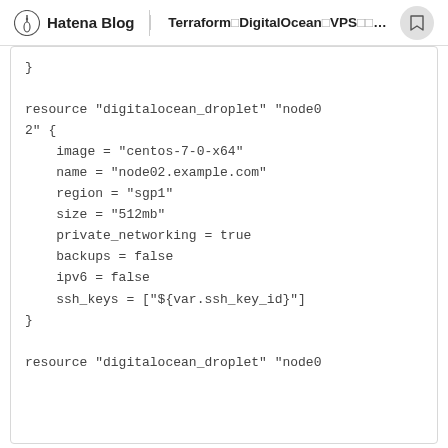Hatena Blog | TerraformでDigitalOceanのVPSを構築してみた
}

resource "digitalocean_droplet" "node02" {
    image = "centos-7-0-x64"
    name = "node02.example.com"
    region = "sgp1"
    size = "512mb"
    private_networking = true
    backups = false
    ipv6 = false
    ssh_keys = ["${var.ssh_key_id}"]
}

resource "digitalocean_droplet" "node0